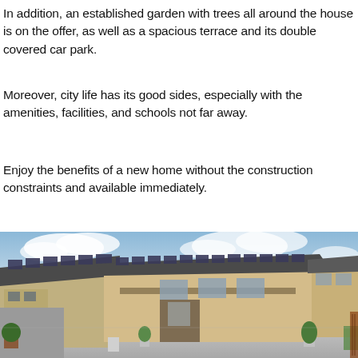In addition, an established garden with trees all around the house is on the offer, as well as a spacious terrace and its double covered car park.
Moreover, city life has its good sides, especially with the amenities, facilities, and schools not far away.
Enjoy the benefits of a new home without the construction constraints and available immediately.
[Figure (photo): Exterior photo of a modern single-storey house with beige/cream rendered walls, flat/low-pitch roof with dark solar panels or corrugated roofing, a covered carport area, concrete driveway, potted plants, and a blue sky with clouds in the background.]